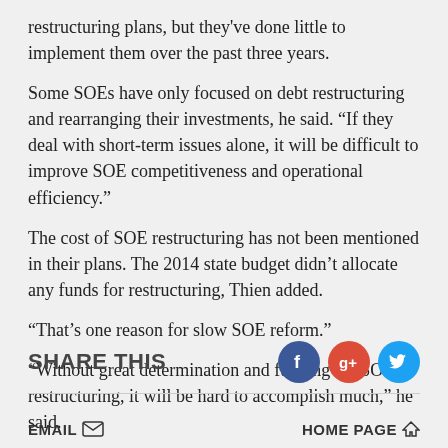restructuring plans, but they've done little to implement them over the past three years.
Some SOEs have only focused on debt restructuring and rearranging their investments, he said. “If they deal with short-term issues alone, it will be difficult to improve SOE competitiveness and operational efficiency.”
The cost of SOE restructuring has not been mentioned in their plans. The 2014 state budget didn’t allocate any funds for restructuring, Thien added.
“That’s one reason for slow SOE reform.”
“Without great determination and funding for SOE restructuring, it will be hard to accomplish much,” he said.
SHARE THIS  EMAIL  HOME PAGE